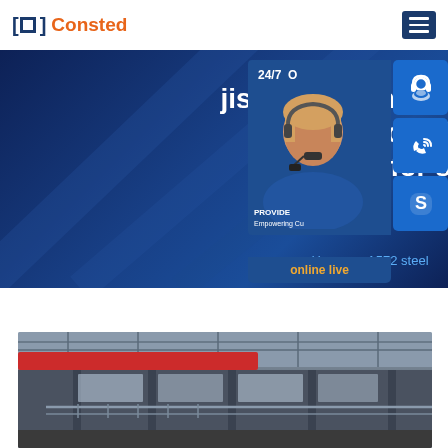Consted
jis g 3114 sma490cp weather steel for container building for sa
Home » A572 steel
[Figure (screenshot): Blue hero banner with white bold title text about JIS G 3114 SMA490CP weather steel, with breadcrumb navigation and a customer service sidebar widget showing 24/7 chat, phone, and Skype icons, and a female customer service representative photo]
[Figure (photo): Industrial factory interior with red overhead crane, steel structure beams, and warehouse lighting]